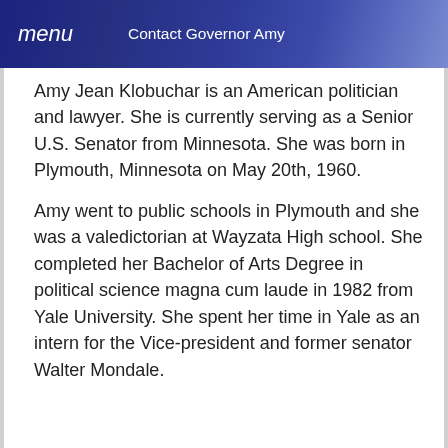menu   Contact Governor Amy
Amy Jean Klobuchar is an American politician and lawyer. She is currently serving as a Senior U.S. Senator from Minnesota. She was born in Plymouth, Minnesota on May 20th, 1960.
Amy went to public schools in Plymouth and she was a valedictorian at Wayzata High school. She completed her Bachelor of Arts Degree in political science magna cum laude in 1982 from Yale University. She spent her time in Yale as an intern for the Vice-president and former senator Walter Mondale.